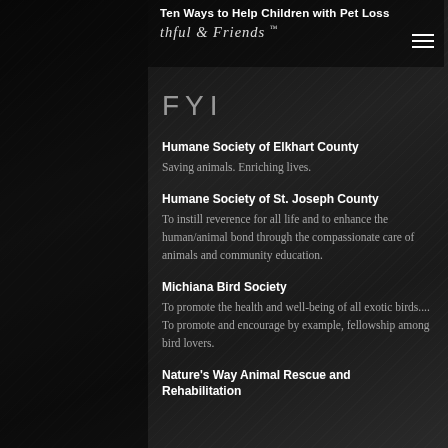Ten Ways to Help Children with Pet Loss
FYI
Humane Society of Elkhart County
Saving animals. Enriching lives.
Humane Society of St. Joseph County
To instill reverence for all life and to enhance the human/animal bond through the compassionate care of animals and community education.
Michiana Bird Society
To promote the health and well-being of all exotic birds.... To promote and encourage by example, fellowship among bird lovers.
Nature's Way Animal Rescue and Rehabilitation